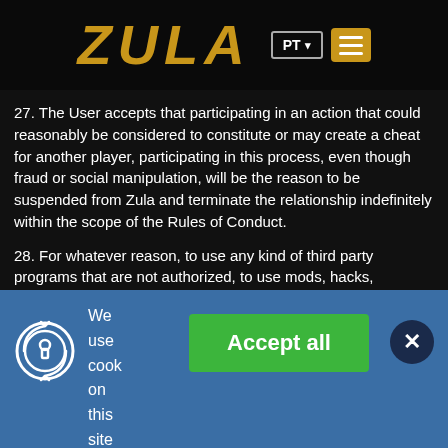ZULA
27. The User accepts that participating in an action that could reasonably be considered to constitute or may create a cheat for another player, participating in this process, even though fraud or social manipulation, will be the reason to be suspended from Zula and terminate the relationship indefinitely within the scope of the Rules of Conduct.
28. For whatever reason, to use any kind of third party programs that are not authorized, to use mods, hacks, cheating software,
We use cook on this site
Accept all